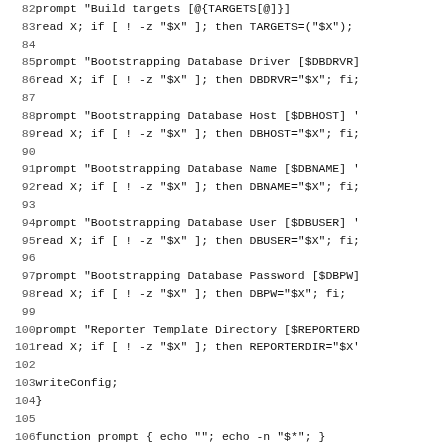Code listing lines 82-114 showing shell script functions for bootstrapping configuration, prompt, and writeConfig